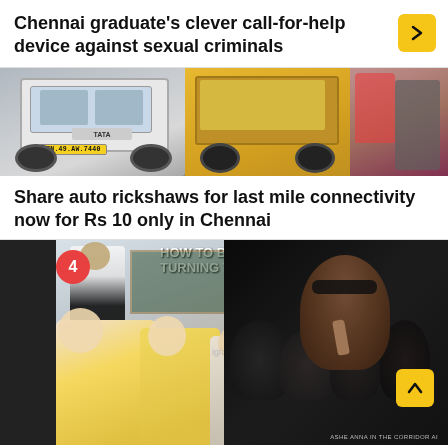Chennai graduate's clever call-for-help device against sexual criminals
[Figure (photo): Photo of auto rickshaws and a truck on a Chennai road. A yellow license plate reads TN.49.AW.7440.]
Share auto rickshaws for last mile connectivity now for Rs 10 only in Chennai
[Figure (photo): A meme image split: left side shows a teacher at a blackboard with text 'HOW TO BAT ON TURNING TRACK' and two cricketers (Ben Stokes and Joe Root) in a classroom setting with an ig/cr watermark; right side shows a Bollywood actor making a shushing gesture. Number badge '4' overlays top-left. An up-arrow yellow button appears bottom-right. Watermark reads 'ASHE ANNA IN THE CORRIDOR AI'.]